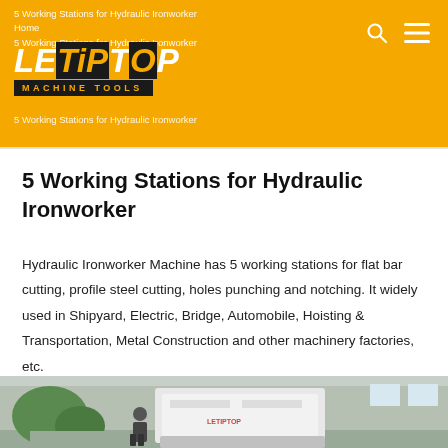5 Working Stations for Hydraulic Ironworker | Home | 5 Working Stations for Hydraulic Ironworker
[Figure (logo): LETIPTOP MACHINE TOOLS logo on orange background]
5 Working Stations for Hydraulic Ironworker
Hydraulic Ironworker Machine has 5 working stations for flat bar cutting, profile steel cutting, holes punching and notching. It widely used in Shipyard, Electric, Bridge, Automobile, Hoisting & Transportation, Metal Construction and other machinery factories, etc.
[Figure (photo): Photo of a person standing next to a large white hydraulic ironworker machine in a factory/workshop setting]